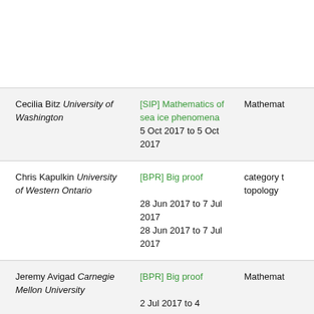| Name / Institution | Program / Dates | Subject |
| --- | --- | --- |
| Cecilia Bitz University of Washington | [SIP] Mathematics of sea ice phenomena
5 Oct 2017 to 5 Oct 2017 | Mathemat |
| Chris Kapulkin University of Western Ontario | [BPR] Big proof
28 Jun 2017 to 7 Jul 2017
28 Jun 2017 to 7 Jul 2017 | category t topology |
| Jeremy Avigad Carnegie Mellon University | [BPR] Big proof
2 Jul 2017 to 4 | Mathemat |